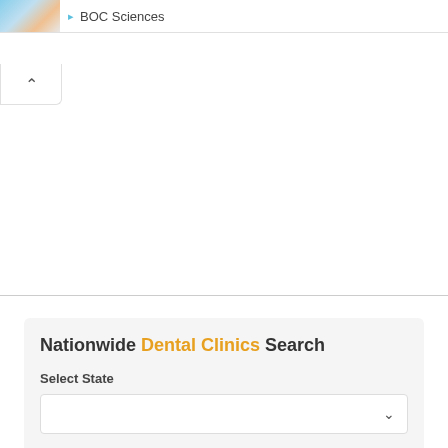BOC Sciences
Nationwide Dental Clinics Search
Select State